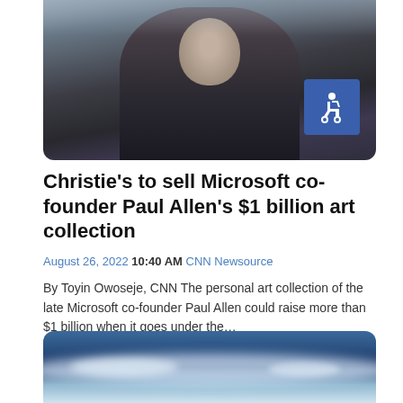[Figure (photo): Photo of a man in a dark suit and purple shirt, likely Paul Allen, at what appears to be a sporting event]
Christie's to sell Microsoft co-founder Paul Allen's $1 billion art collection
August 26, 2022 10:40 AM CNN Newsource
By Toyin Owoseje, CNN The personal art collection of the late Microsoft co-founder Paul Allen could raise more than $1 billion when it goes under the…
Continue Reading
[Figure (photo): Aerial or wide shot of ocean water with white foam/waves, blue tones]